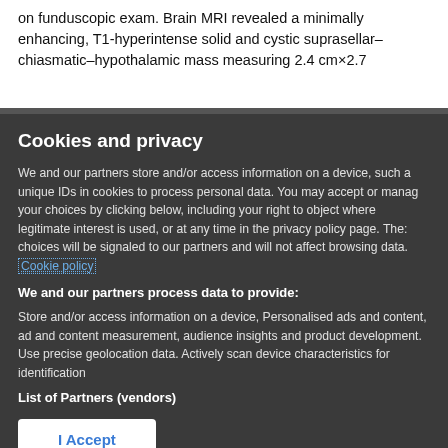on funduscopic exam. Brain MRI revealed a minimally enhancing, T1-hyperintense solid and cystic suprasellar–chiasmatic–hypothalamic mass measuring 2.4 cm×2.7
Cookies and privacy
We and our partners store and/or access information on a device, such as unique IDs in cookies to process personal data. You may accept or manage your choices by clicking below, including your right to object where legitimate interest is used, or at any time in the privacy policy page. These choices will be signaled to our partners and will not affect browsing data. Cookie policy
We and our partners process data to provide:
Store and/or access information on a device, Personalised ads and content, ad and content measurement, audience insights and product development. Use precise geolocation data. Actively scan device characteristics for identification
List of Partners (vendors)
I Accept